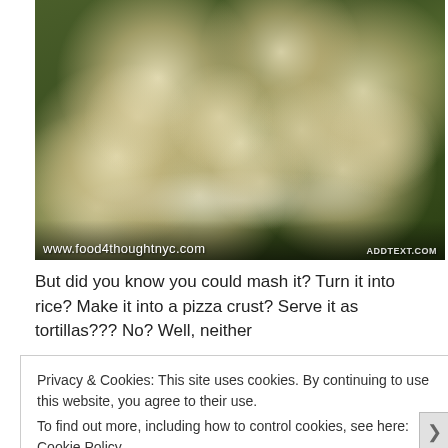[Figure (photo): A plate of roasted cauliflower florets topped with chopped green herbs (parsley/chives). The image has two watermarks: 'www.food4thoughtnyc.com' on the lower left and 'ADDTEXT.COM' on the lower right.]
But did you know you could mash it? Turn it into rice? Make it into a pizza crust? Serve it as tortillas??? No? Well, neither
Privacy & Cookies: This site uses cookies. By continuing to use this website, you agree to their use.
To find out more, including how to control cookies, see here: Cookie Policy
Close and accept